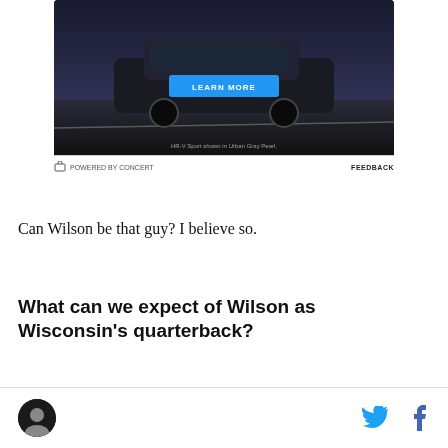[Figure (photo): Advertisement image showing a dark SUV (Honda HR-V Sport) on a road with a 'LEARN MORE' button and caption 'HR-V Sport shown in Urban Gray Pearl.' Powered by Concert footer with Feedback link.]
Can Wilson be that guy? I believe so.
What can we expect of Wilson as Wisconsin's quarterback?
[Figure (logo): Circular author avatar logo and social media icons (Twitter bird and Facebook f)]